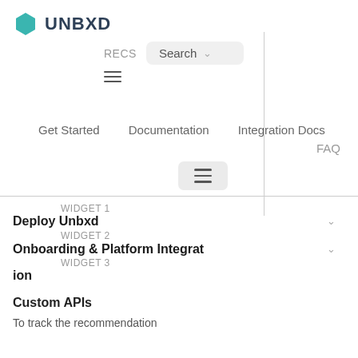[Figure (logo): UNBXD logo with teal hexagon icon and bold dark text]
[Figure (screenshot): Navigation dropdown showing RECS and Search options with hamburger menu]
Get Started   Documentation   Integration Docs
FAQ
[Figure (screenshot): Hamburger menu icon in a light grey box]
WIDGET 1
Deploy Unbxd
WIDGET 2
Onboarding & Platform Integration
WIDGET 3
Custom APIs
To track the recommendation